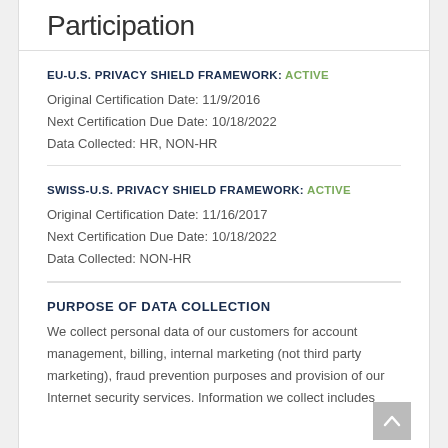Participation
EU-U.S. PRIVACY SHIELD FRAMEWORK: ACTIVE
Original Certification Date: 11/9/2016
Next Certification Due Date: 10/18/2022
Data Collected: HR, NON-HR
SWISS-U.S. PRIVACY SHIELD FRAMEWORK: ACTIVE
Original Certification Date: 11/16/2017
Next Certification Due Date: 10/18/2022
Data Collected: NON-HR
PURPOSE OF DATA COLLECTION
We collect personal data of our customers for account management, billing, internal marketing (not third party marketing), fraud prevention purposes and provision of our Internet security services. Information we collect includes